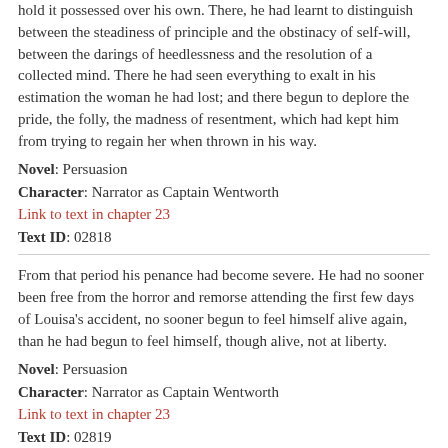hold it possessed over his own. There, he had learnt to distinguish between the steadiness of principle and the obstinacy of self-will, between the darings of heedlessness and the resolution of a collected mind. There he had seen everything to exalt in his estimation the woman he had lost; and there begun to deplore the pride, the folly, the madness of resentment, which had kept him from trying to regain her when thrown in his way.
Novel: Persuasion
Character: Narrator as Captain Wentworth
Link to text in chapter 23
Text ID: 02818
From that period his penance had become severe. He had no sooner been free from the horror and remorse attending the first few days of Louisa's accident, no sooner begun to feel himself alive again, than he had begun to feel himself, though alive, not at liberty.
Novel: Persuasion
Character: Narrator as Captain Wentworth
Link to text in chapter 23
Text ID: 02819